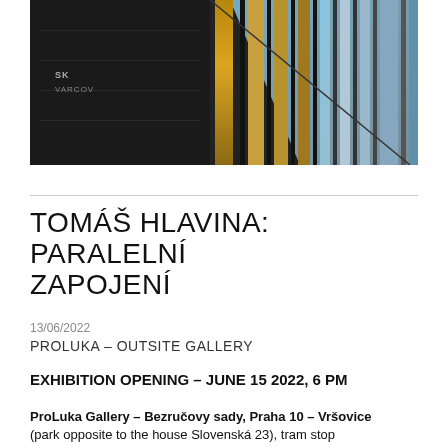[Figure (photo): Exterior photograph of a modernist building facade with vertical metal/glass panels and reflections, with 'SK VARCOV' text visible on the wall]
TOMÁŠ HLAVINA: PARALELNÍ ZAPOJENÍ
13/06/2022
PROLUKA – OUTSITE GALLERY
EXHIBITION OPENING – JUNE 15 2022, 6 PM
ProLuka Gallery – Bezručovy sady, Praha 10 – Vršovice (park opposite to the house Slovenská 23), tram stop